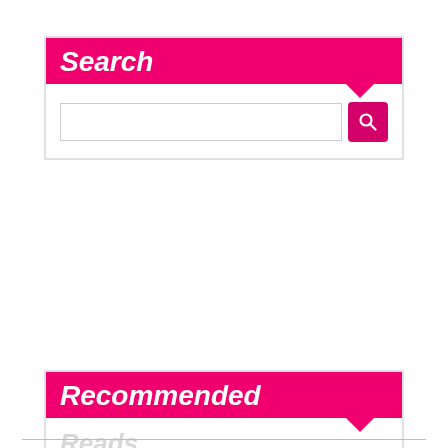Search
[Figure (screenshot): Search input box with pink search button]
Recommended Reads
How Accepting Universal Payments Will Help To Expand Your Business
Working Abroad? The Top Tips You Need To Know
10 Signs You Should Already Be A Doctor Or A Nurse
How To Get That Cheap Flight?
Gambling Hacks – Simple, Easy And The Best Ways That Actually Work